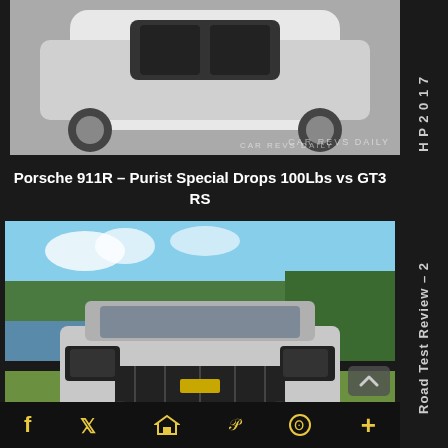[Figure (photo): Partial view of white Porsche 911R from above/front angle with watermark 'CAR REVS DAILY']
Porsche 911R – Purist Special Drops 100Lbs vs GT3 RS
[Figure (photo): Silver Chevrolet Tahoe LTZ 4WD parked on grass with trees in background]
015 Chevrolet Tahoe LTZ 4WD – 150 Photos and Four 1080P GoPro Videos
Social sharing icons: Facebook, Twitter, Email, Pinterest, WhatsApp, More